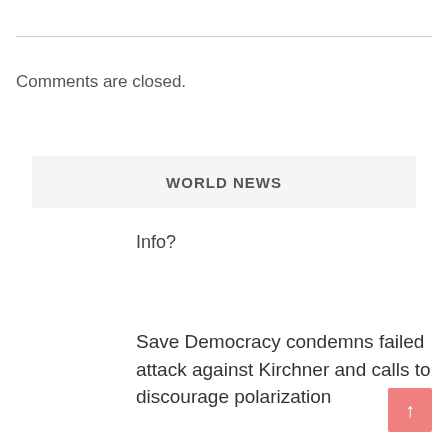Comments are closed.
WORLD NEWS
Info?
Save Democracy condemns failed attack against Kirchner and calls to discourage polarization